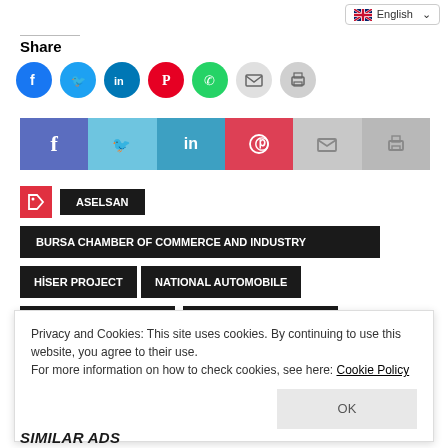English
Share
[Figure (infographic): Social share buttons: Facebook, Twitter, LinkedIn, Pinterest, WhatsApp, Email, Print — circular icon style]
[Figure (infographic): Social share bar: Facebook (f), Twitter (bird), LinkedIn (in), Pinterest (P), Email (envelope), Print (printer)]
ASELSAN
BURSA CHAMBER OF COMMERCE AND INDUSTRY
HİSER PROJECT
NATIONAL AUTOMOBILE
Privacy and Cookies: This site uses cookies. By continuing to use this website, you agree to their use.
For more information on how to check cookies, see here: Cookie Policy
SIMILAR ADS